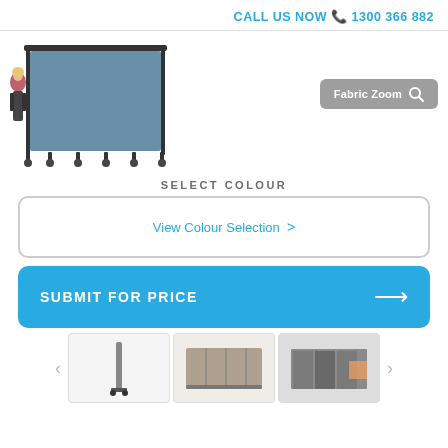CALL US NOW 1300 366 882
[Figure (photo): A portable room divider/partition screen on wheels, blue-grey fabric panels, with a woman standing next to it for scale]
Fabric Zoom
SELECT COLOUR
View Colour Selection >
SUBMIT FOR PRICE →
[Figure (photo): Thumbnail 1: folded partition screen standing upright]
[Figure (photo): Thumbnail 2: partition screen opened, tan/beige fabric]
[Figure (photo): Thumbnail 3: partition screens in a room setting]